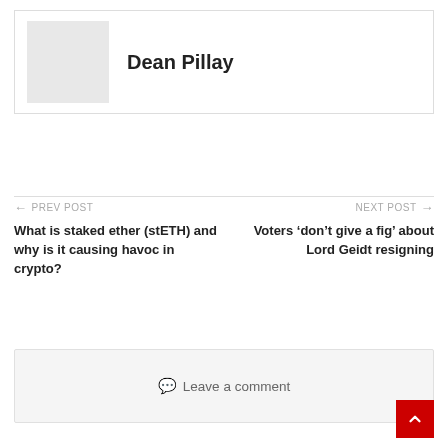[Figure (photo): Author avatar placeholder — light grey square]
Dean Pillay
← PREV POST
What is staked ether (stETH) and why is it causing havoc in crypto?
NEXT POST →
Voters 'don't give a fig' about Lord Geidt resigning
💬 Leave a comment